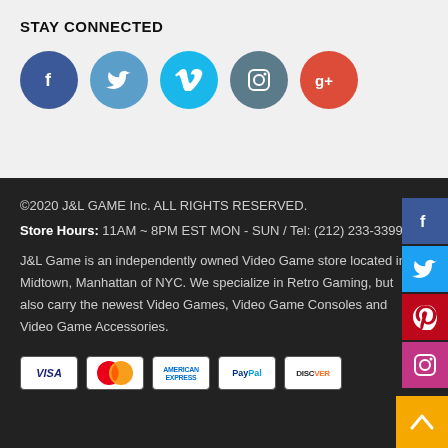STAY CONNECTED
[Figure (illustration): Five social media icon circles: Facebook (dark blue), Twitter (light blue), Vimeo (cyan), Instagram (dark teal), Google+ (red)]
©2020 J&L GAME Inc. ALL RIGHTS RESERVED.
Store Hours: 11AM ~ 8PM EST MON - SUN / Tel: (212) 233-3399
J&L Game is an independently owned Video Game store located in Midtown, Manhattan of NYC. We specialize in Retro Gaming, but also carry the newest Video Games, Video Game Consoles and Video Game Accessories.
[Figure (illustration): Sidebar social media buttons: Facebook (dark blue), Twitter (blue), Pinterest (red), Instagram (pink/magenta)]
[Figure (illustration): Payment method badges: VISA, MasterCard, American Express, PayPal, Discover]
[Figure (illustration): Back to top yellow button with upward arrow]